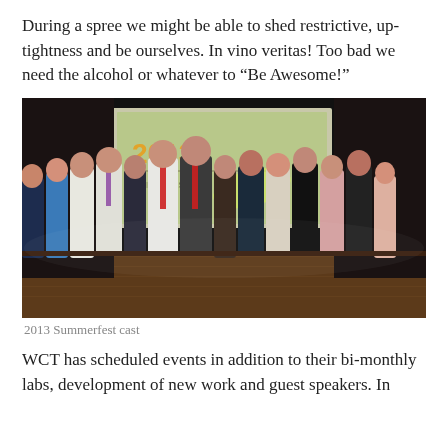During a spree we might be able to shed restrictive, up-tightness and be ourselves. In vino veritas! Too bad we need the alcohol or whatever to “Be Awesome!”
[Figure (photo): Group of approximately 13 people standing on a stage holding hands in a line, with a projection screen showing '2013' behind them. Indoor theater/auditorium setting with wooden stage floor.]
2013 Summerfest cast
WCT has scheduled events in addition to their bi-monthly labs, development of new work and guest speakers. In